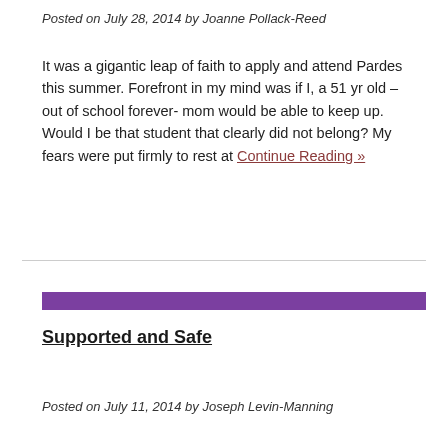Posted on July 28, 2014 by Joanne Pollack-Reed
It was a gigantic leap of faith to apply and attend Pardes this summer. Forefront in my mind was if I, a 51 yr old – out of school forever- mom would be able to keep up. Would I be that student that clearly did not belong? My fears were put firmly to rest at Continue Reading »
Supported and Safe
Posted on July 11, 2014 by Joseph Levin-Manning